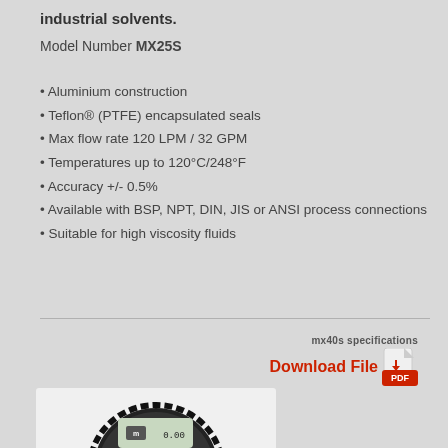industrial solvents.
Model Number MX25S
Aluminium construction
Teflon® (PTFE) encapsulated seals
Max flow rate 120 LPM / 32 GPM
Temperatures up to 120°C/248°F
Accuracy +/- 0.5%
Available with BSP, NPT, DIN, JIS or ANSI process connections
Suitable for high viscosity fluids
mx40s specifications
Download File
[Figure (photo): Photo of a digital flow meter device with circular black housing and digital display showing the brand logo]